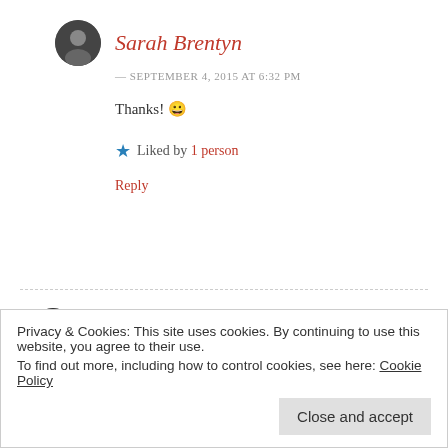Sarah Brentyn
— SEPTEMBER 4, 2015 AT 6:32 PM
Thanks! 😀
★ Liked by 1 person
Reply
Let's CUT the Crap!
— SEPTEMBER 4, 2015 AT 6:36 PM
Privacy & Cookies: This site uses cookies. By continuing to use this website, you agree to their use.
To find out more, including how to control cookies, see here: Cookie Policy
Close and accept